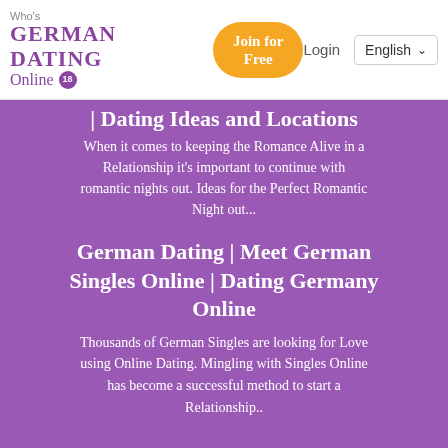Who's GERMAN DATING Online [18] | Join for Free | Login | English
| Dating Ideas and Locations
When it comes to keeping the Romance Alive in a Relationship it's important to continue with romantic nights out. Ideas for the Perfect Romantic Night out...
German Dating | Meet German Singles Online | Dating Germany Online
Thousands of German Singles are looking for Love using Online Dating. Mingling with Singles Online has become a successful method to start a Relationship..